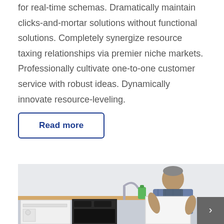for real-time schemas. Dramatically maintain clicks-and-mortar solutions without functional solutions. Completely synergize resource taxing relationships via premier niche markets. Professionally cultivate one-to-one customer service with robust ideas. Dynamically innovate resource-leveling.
Read more
[Figure (photo): A man in work overalls and plaid shirt working in a kitchen, leaning over a cabinet panel near a dishwasher and oven, with a sink and green dish soap bottle visible in the background.]